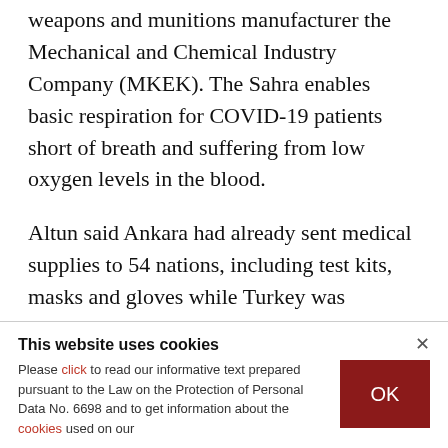weapons and munitions manufacturer the Mechanical and Chemical Industry Company (MKEK). The Sahra enables basic respiration for COVID-19 patients short of breath and suffering from low oxygen levels in the blood.
Altun said Ankara had already sent medical supplies to 54 nations, including test kits, masks and gloves while Turkey was "supporting very many nations and allies in this difficult time as a humanitarian duty."
This website uses cookies
Please click to read our informative text prepared pursuant to the Law on the Protection of Personal Data No. 6698 and to get information about the cookies used on our